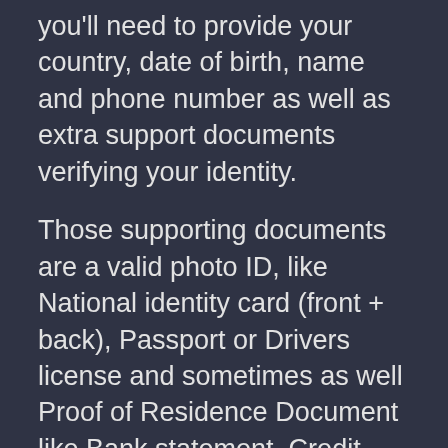you'll need to provide your country, date of birth, name and phone number as well as extra support documents verifying your identity.
Those supporting documents are a valid photo ID, like National identity card (front + back), Passport or Drivers license and sometimes as well Proof of Residence Document like Bank statement, Credit card statement, Utility bill(water, electricity, gas, internet, phone), Payroll statement -or- Official salary document from employer, Residence certificate or Tax document.